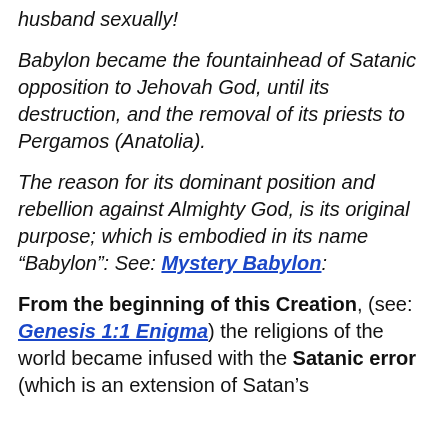husband sexually!
Babylon became the fountainhead of Satanic opposition to Jehovah God, until its destruction, and the removal of its priests to Pergamos (Anatolia).
The reason for its dominant position and rebellion against Almighty God, is its original purpose; which is embodied in its name “Babylon”: See: Mystery Babylon:
From the beginning of this Creation, (see: Genesis 1:1 Enigma) the religions of the world became infused with the Satanic error (which is an extension of Satan’s